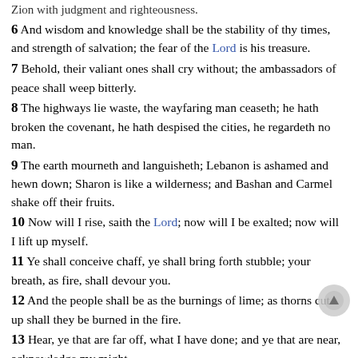Zion with judgment and righteousness.
6 And wisdom and knowledge shall be the stability of thy times, and strength of salvation; the fear of the Lord is his treasure.
7 Behold, their valiant ones shall cry without; the ambassadors of peace shall weep bitterly.
8 The highways lie waste, the wayfaring man ceaseth; he hath broken the covenant, he hath despised the cities, he regardeth no man.
9 The earth mourneth and languisheth; Lebanon is ashamed and hewn down; Sharon is like a wilderness; and Bashan and Carmel shake off their fruits.
10 Now will I rise, saith the Lord; now will I be exalted; now will I lift up myself.
11 Ye shall conceive chaff, ye shall bring forth stubble; your breath, as fire, shall devour you.
12 And the people shall be as the burnings of lime; as thorns cut up shall they be burned in the fire.
13 Hear, ye that are far off, what I have done; and ye that are near, acknowledge my might.